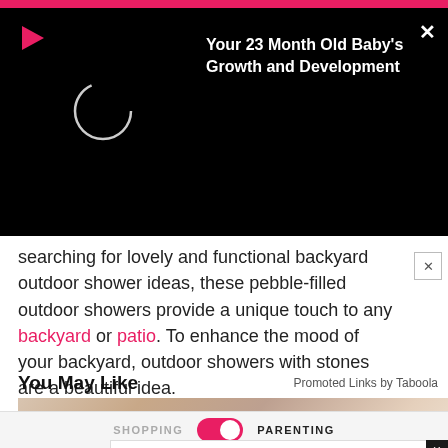[Figure (screenshot): Video player overlay on black background with play icon and loading spinner, showing title 'Your 23 Month Old Baby's Growth and Development']
searching for lovely and functional backyard outdoor shower ideas, these pebble-filled outdoor showers provide a unique touch to any backyard or patio. To enhance the mood of your backyard, outdoor showers with stones are a beautiful idea.
You May Like
Promoted Links by Taboola
[Figure (photo): Blurred promotional image showing a baby/skin close-up for Taboola ad]
[Figure (infographic): Advertisement banner: Fairfax OPEN 10AM-8PM, 3903 M Fair Ridge Drive, Fairfax with navigation icon]
SHOPPING   PARENTING